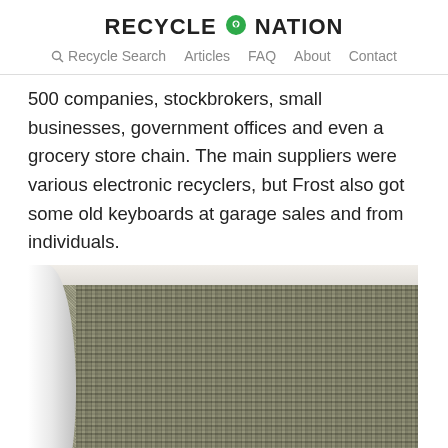RECYCLE NATION
Recycle Search  Articles  FAQ  About  Contact
500 companies, stockbrokers, small businesses, government offices and even a grocery store chain. The main suppliers were various electronic recyclers, but Frost also got some old keyboards at garage sales and from individuals.
[Figure (photo): A large wall installation made of keyboard keys in a gallery space, with a white cylindrical column on the left and wooden floor below.]